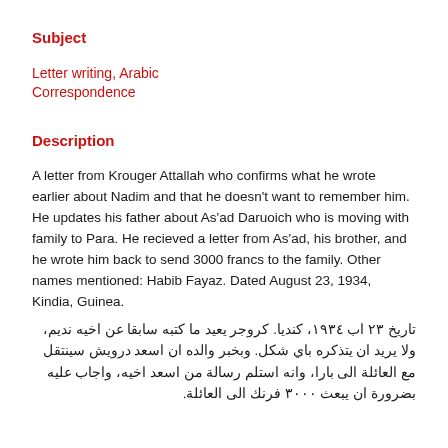Subject
Letter writing, Arabic Correspondence
Description
A letter from Krouger Attallah who confirms what he wrote earlier about Nadim and that he doesn't want to remember him. He updates his father about As'ad Daruoich who is moving with family to Para. He recieved a letter from As'ad, his brother, and he wrote him back to send 3000 francs to the family. Other names mentioned: Habib Fayaz. Dated August 23, 1934, Kindia, Guinea.
تاريخ ٢٣ اب ١٩٣٤، كنديا. كروجر يعيد ما كتبه سابقا عن اخيه نديم، ولا يريد ان يتذكره باي شكل. وبخبر والده ان اسعد درويش سينتقل مع العائلة الى بارا، وانه استلم رسالة من اسعد اخيه، واجاب عليه بضرورة ان يبعث ٣٠٠٠ فرنك الى العائلة.